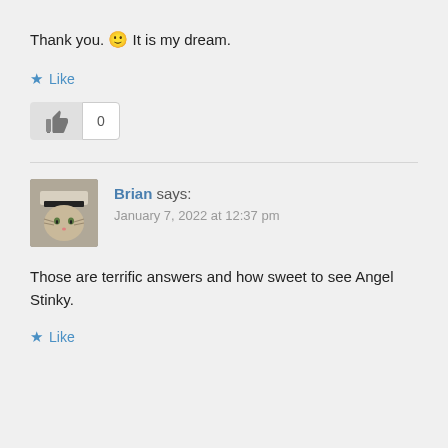Thank you. 🙂 It is my dream.
★ Like
[Figure (other): Thumbs up button with count box showing 0]
Brian says:
January 7, 2022 at 12:37 pm
Those are terrific answers and how sweet to see Angel Stinky.
★ Like